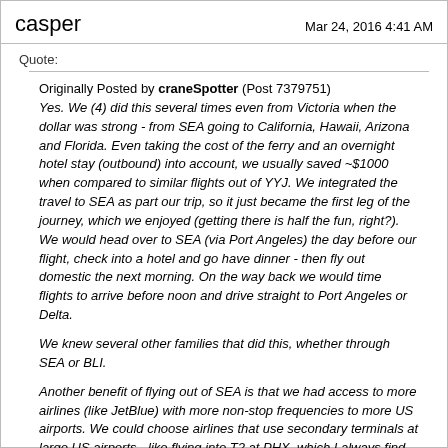casper    Mar 24, 2016 4:41 AM
Quote:
Originally Posted by craneSpotter (Post 7379751)
Yes. We (4) did this several times even from Victoria when the dollar was strong - from SEA going to California, Hawaii, Arizona and Florida. Even taking the cost of the ferry and an overnight hotel stay (outbound) into account, we usually saved ~$1000 when compared to similar flights out of YYJ. We integrated the travel to SEA as part our trip, so it just became the first leg of the journey, which we enjoyed (getting there is half the fun, right?). We would head over to SEA (via Port Angeles) the day before our flight, check into a hotel and go have dinner - then fly out domestic the next morning. On the way back we would time flights to arrive before noon and drive straight to Port Angeles or Delta.

We knew several other families that did this, whether through SEA or BLI.

Another benefit of flying out of SEA is that we had access to more airlines (like JetBlue) with more non-stop frequencies to more US airports. We could choose airlines that use secondary terminals at large US airports - like flying into T2 at PHX, which I always find much quieter and faster to get in and out of than T4 - where AC and WJ fly. We could also choose secondary airports, like using LGB, SNA and ONT